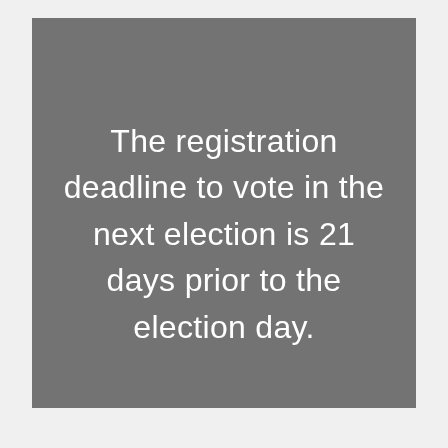The registration deadline to vote in the next election is 21 days prior to the election day.